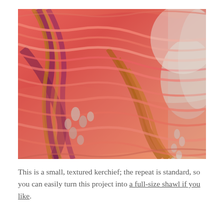[Figure (photo): Close-up photo of a textured knitted kerchief/shawl in warm coral, pink, magenta, and golden-orange yarn tones, showing lace eyelets and garter stitch texture, draped over a white surface.]
This is a small, textured kerchief; the repeat is standard, so you can easily turn this project into a full-size shawl if you like.